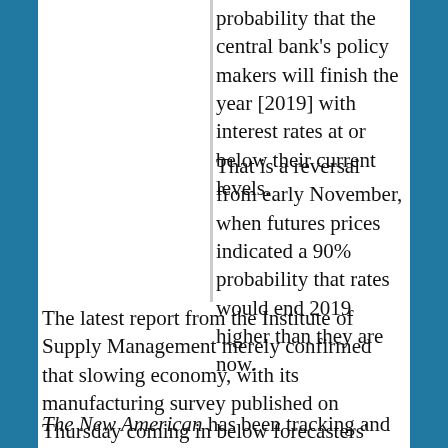probability that the central bank's policy makers will finish the year [2019] with interest rates at or below their current levels.
That is a reversal from early November, when futures prices indicated a 90% probability that rates would end 2019 higher than they are now.
The latest report from the Institute of Supply Management merely confirmed that slowing economy, with its manufacturing survey published on Thursday coming in below forecasters' expectations (which were below October's).
The New American has been tracking and